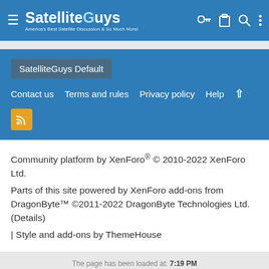SatelliteGuys — America's Best Satellite Discussion & So Much More!
SatelliteGuys Default
Contact us   Terms and rules   Privacy policy   Help   ↑
[Figure (other): RSS feed orange button icon]
Community platform by XenForo® © 2010-2022 XenForo Ltd.
Parts of this site powered by XenForo add-ons from DragonByte™ ©2011-2022 DragonByte Technologies Ltd. (Details)
| Style and add-ons by ThemeHouse
The page has been loaded at: 7:19 PM
This page was generated in: 0.223s · Queries: 107 · Memory: 14.10MB